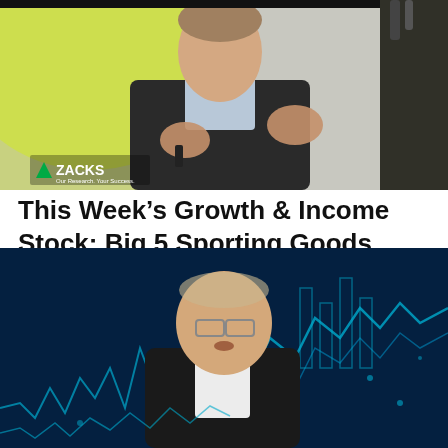[Figure (photo): Video thumbnail showing a man in a dark suit gesturing with both hands, with a yellow-green background and Zacks logo visible in the bottom left corner.]
This Week's Growth & Income Stock: Big 5 Sporting Goods (BGFV)
[Figure (photo): Video thumbnail showing an older man with glasses wearing a black blazer and white shirt, standing in front of a blue digital stock chart background.]